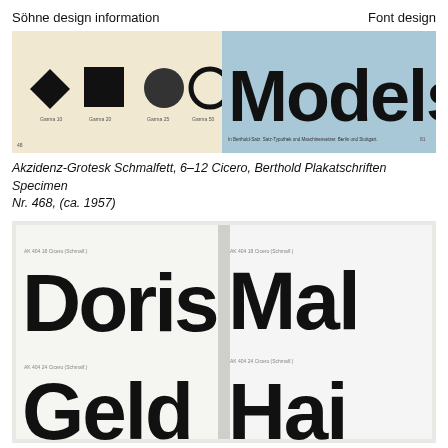Söhne design information    Font design
[Figure (photo): Two-panel image: left panel shows Akzidenz-Grotesk geometric shapes (diamond, square, circle, ring) on cream background; right panel shows large bold 'Models' text on blue background — from Berthold Plakatschriften Specimen]
Akzidenz-Grotesk Schmalfett, 6–12 Cicero, Berthold Plakatschriften Specimen Nr. 468, (ca. 1957)
[Figure (photo): Open book spread showing large bold condensed type specimens: left page shows 'Doris' and 'Geld'; right page shows 'Mal' and 'Hai' in Akzidenz-Grotesk Schmalfett]